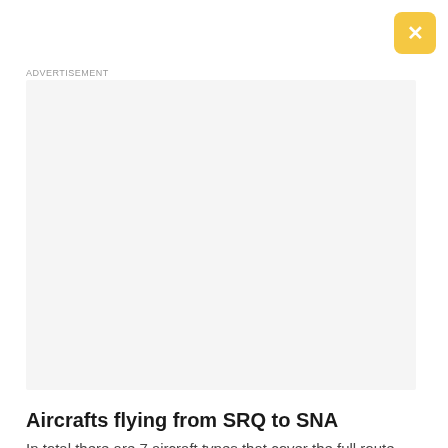[Figure (other): Close button — rounded yellow/gold square with white X in top-right corner]
ADVERTISEMENT
[Figure (other): Advertisement placeholder box with light gray background]
Aircrafts flying from SRQ to SNA
In total there are 7 aircraft types that cover the full route from Sarasota / Bradenton to Santa Ana. These aircrafts are: